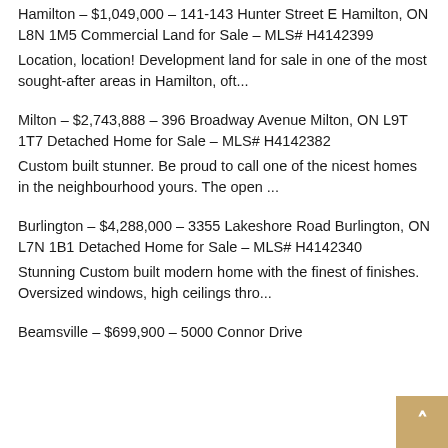Hamilton – $1,049,000 – 141-143 Hunter Street E Hamilton, ON L8N 1M5 Commercial Land for Sale – MLS# H4142399
Location, location! Development land for sale in one of the most sought-after areas in Hamilton, oft...
Milton – $2,743,888 – 396 Broadway Avenue Milton, ON L9T 1T7 Detached Home for Sale – MLS# H4142382
Custom built stunner. Be proud to call one of the nicest homes in the neighbourhood yours. The open ...
Burlington – $4,288,000 – 3355 Lakeshore Road Burlington, ON L7N 1B1 Detached Home for Sale – MLS# H4142340
Stunning Custom built modern home with the finest of finishes. Oversized windows, high ceilings thro...
Beamsville – $699,900 – 5000 Connor Drive